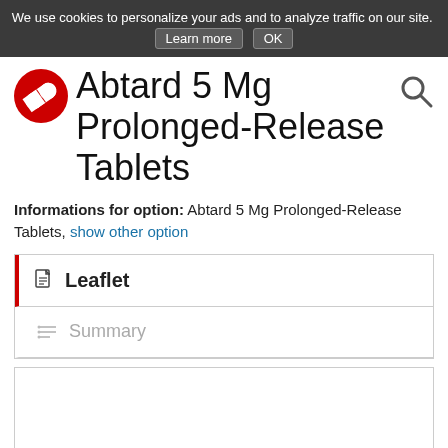We use cookies to personalize your ads and to analyze traffic on our site. Learn more  OK
Abtard 5 Mg Prolonged-Release Tablets
Informations for option: Abtard 5 Mg Prolonged-Release Tablets, show other option
Leaflet
Summary